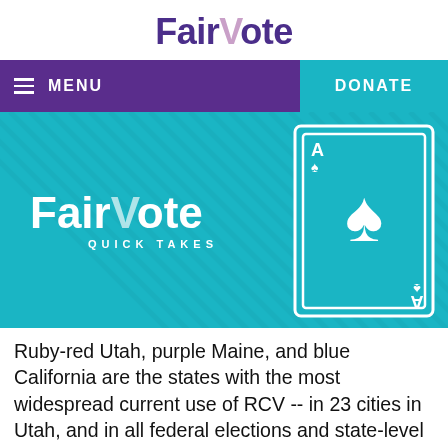FairVote
[Figure (screenshot): FairVote website navigation bar with purple MENU on left and teal DONATE on right]
[Figure (illustration): FairVote Quick Takes banner image with diagonal stripe teal background, FairVote logo in white on left, and ace of spades playing card graphic on right]
Ruby-red Utah, purple Maine, and blue California are the states with the most widespread current use of RCV -- in 23 cities in Utah, and in all federal elections and state-level primaries Maine,